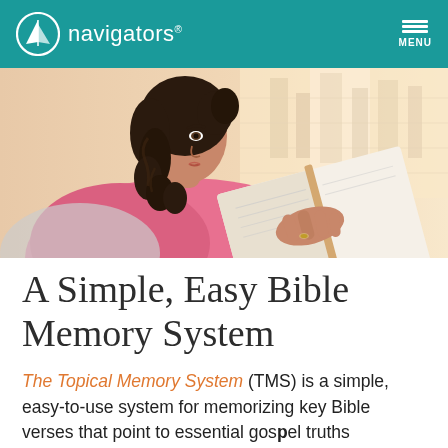navigators
[Figure (photo): A young woman with curly dark hair wearing a pink top, reading an open book near a bright window with a blurred city background.]
A Simple, Easy Bible Memory System
The Topical Memory System (TMS) is a simple, easy-to-use system for memorizing key Bible verses that point to essential gospel truths